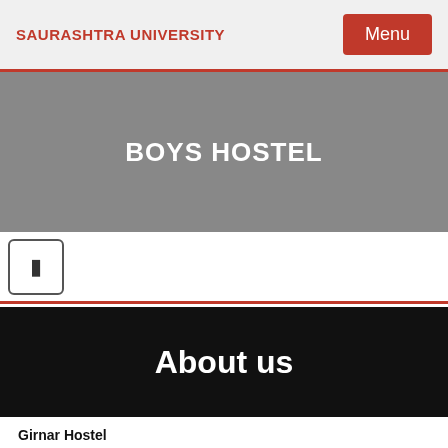SAURASHTRA UNIVERSITY
BOYS HOSTEL
[Figure (other): Navigation icon button with a bookmark/page icon]
About us
Girnar Hostel
Girnar hostel has capacity of 96 Rooms. Single